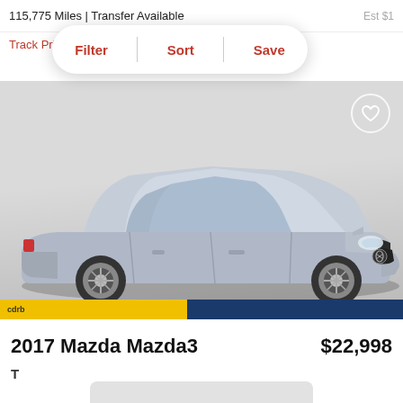115,775 Miles | Transfer Available
Filter  Sort  Save
[Figure (photo): Silver 2017 Mazda Mazda3 sedan photographed from a front three-quarter angle on a white/grey studio background]
2017 Mazda Mazda3
$22,998